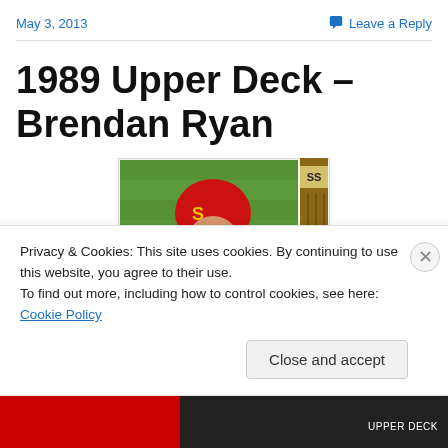May 3, 2013
Leave a Reply
1989 Upper Deck – Brendan Ryan
[Figure (photo): Baseball card photo showing Brendan Ryan in a St. Louis Cardinals uniform, wearing a red helmet, with a position indicator 'SS' visible on the right side of the card. Green field background visible.]
Privacy & Cookies: This site uses cookies. By continuing to use this website, you agree to their use.
To find out more, including how to control cookies, see here: Cookie Policy